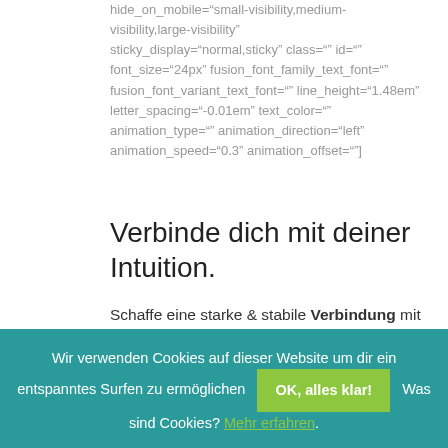hide_on_mobile="small-visibility,medium-visibility,large-visibility" sticky_display="normal,sticky" class="" id="" font_size="24px" fusion_font_family_text_font="" fusion_font_variant_text_font="" line_height="1.48em" letter_spacing="-0.01em" text_color="" animation_type="" animation_direction="left" animation_speed="0.3" animation_offset=""]
Verbinde dich mit deiner Intuition.
Schaffe eine starke & stabile Verbindung mit deinem Herzen und lass es dir den Weg für dein Business weisen.
Wir verwenden Cookies auf dieser Website um dir ein entspanntes Surfen zu ermöglichen   OK, alles klar!   Was sind Cookies? Mehr erfahren.